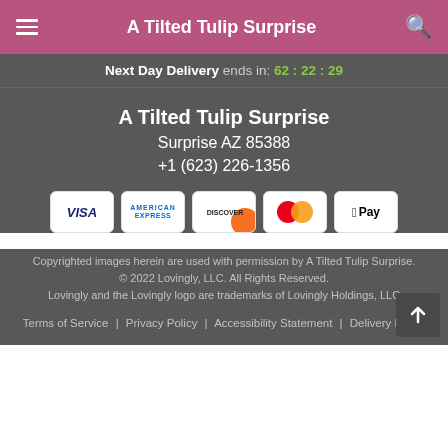A Tilted Tulip Surprise
Next Day Delivery ends in: 62 : 22 : 29
A Tilted Tulip Surprise
Surprise AZ 85388
+1 (623) 226-1356
[Figure (other): Payment method icons: Visa, American Express, Discover, Mastercard, Apple Pay]
Copyrighted images herein are used with permission by A Tilted Tulip Surprise. © 2022 Lovingly, LLC. All Rights Reserved. Lovingly and the Lovingly logo are trademarks of Lovingly Holdings, LLC
Terms of Service | Privacy Policy | Accessibility Statement | Delivery Policy